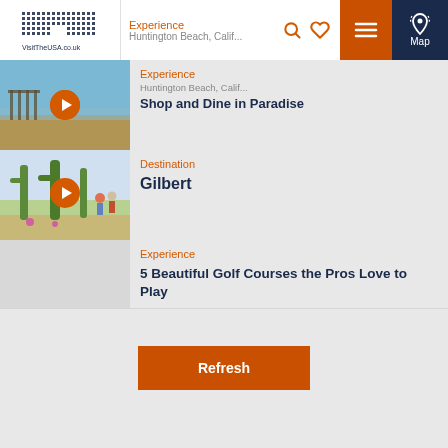Experience | Huntington Beach, California | VisitTheUSA.co.uk
Experience
Huntington Beach, Cali...
Shop and Dine in Paradise
[Figure (photo): Beach photo thumbnail with orange play button]
Destination
Gilbert
[Figure (photo): Desert landscape with cacti thumbnail and orange play button]
Experience
5 Beautiful Golf Courses the Pros Love to Play
Refresh